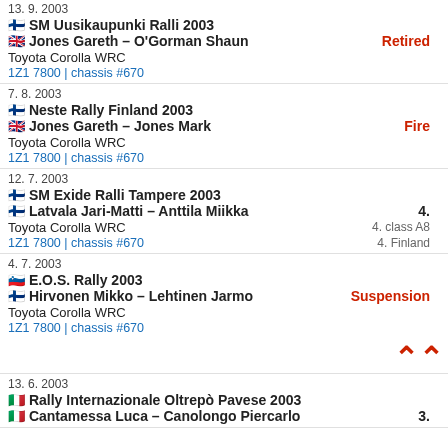13. 9. 2003
🇫🇮 SM Uusikaupunki Ralli 2003
🇬🇧 Jones Gareth – O'Gorman Shaun — Retired
Toyota Corolla WRC
1Z1 7800 | chassis #670
7. 8. 2003
🇫🇮 Neste Rally Finland 2003
🇬🇧 Jones Gareth – Jones Mark — Fire
Toyota Corolla WRC
1Z1 7800 | chassis #670
12. 7. 2003
🇫🇮 SM Exide Ralli Tampere 2003
🇫🇮 Latvala Jari-Matti – Anttila Miikka — 4. / 4. class A8 / 4. Finland
Toyota Corolla WRC
1Z1 7800 | chassis #670
4. 7. 2003
🇸🇮 E.O.S. Rally 2003
🇫🇮 Hirvonen Mikko – Lehtinen Jarmo — Suspension
Toyota Corolla WRC
1Z1 7800 | chassis #670
13. 6. 2003
🇮🇹 Rally Internazionale Oltrepò Pavese 2003
🇮🇹 Cantamessa Luca – Canolongo Piercarlo — 3.